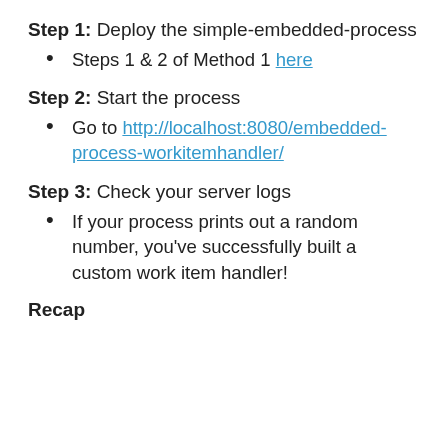Step 1: Deploy the simple-embedded-process
Steps 1 & 2 of Method 1 here
Step 2: Start the process
Go to http://localhost:8080/embedded-process-workitemhandler/
Step 3: Check your server logs
If your process prints out a random number, you've successfully built a custom work item handler!
Recap